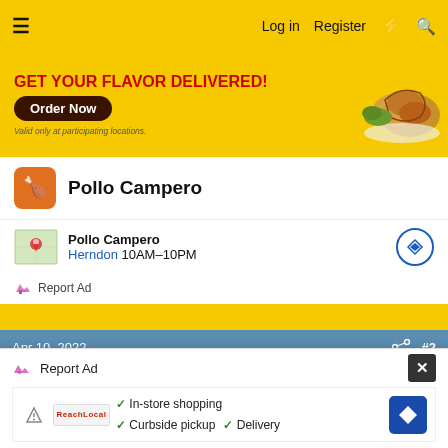≡   Log in   Register   ⚡   🔍
[Figure (screenshot): Pollo Campero advertisement banner with 'GET YOUR FLAVOR DELIVERED!' text, 'Order Now' button, and fried chicken image]
Pollo Campero
Pollo Campero
Herndon 10AM–10PM
Report Ad
Apr 10, 2022  #2
digger
Administrator  Staff member  Administrator  Moderator
IHCC Sponsor  IHCC Supporter
Kevin Hendress said:
Report Ad
In-store shopping
Curbside pickup  Delivery